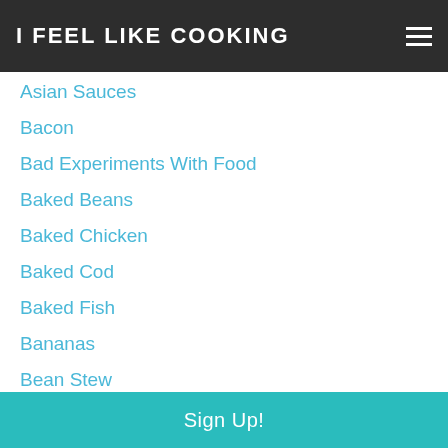I FEEL LIKE COOKING
Asian Sauces
Bacon
Bad Experiments With Food
Baked Beans
Baked Chicken
Baked Cod
Baked Fish
Bananas
Bean Stew
Beef Gravy
Beef Sate
Beef Stew
Beets
Bing Cherry Cookies
Biscuits
Sign Up!